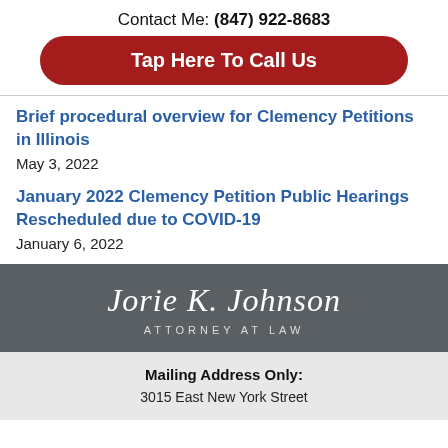Contact Me: (847) 922-8683
Tap Here To Call Us
Brief procedural overview for Clemency Petitions in Illinois
May 3, 2022
January 2022 Clemency Petition Public Hearings Rescheduled due to COVID-19
January 6, 2022
[Figure (logo): Jorie K. Johnson Attorney At Law logo on dark grey background with script font name and spaced uppercase tagline]
Mailing Address Only: 3015 East New York Street